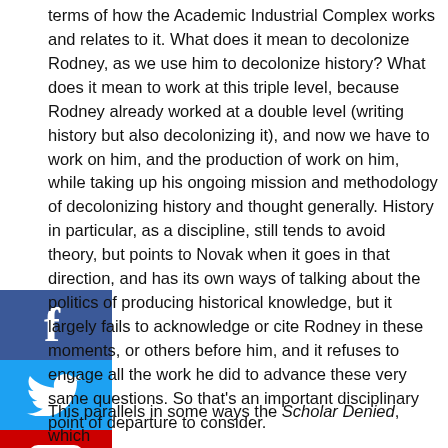terms of how the Academic Industrial Complex works and relates to it. What does it mean to decolonize Rodney, as we use him to decolonize history? What does it mean to work at this triple level, because Rodney already worked at a double level (writing history but also decolonizing it), and now we have to work on him, and the production of work on him, while taking up his ongoing mission and methodology of decolonizing history and thought generally. History in particular, as a discipline, still tends to avoid theory, but points to Novak when it goes in that direction, and has its own ways of talking about the politics of producing historical knowledge, but it largely fails to acknowledge or cite Rodney in these moments, or others before him, and it refuses to engage all the work he did to advance these very same questions. So that's an important disciplinary point of departure to consider.
[Figure (infographic): Social media share buttons: Facebook (blue), Twitter (light blue), YouTube (red), WhatsApp (green circle)]
This parallels in some ways the Scholar Denied, which